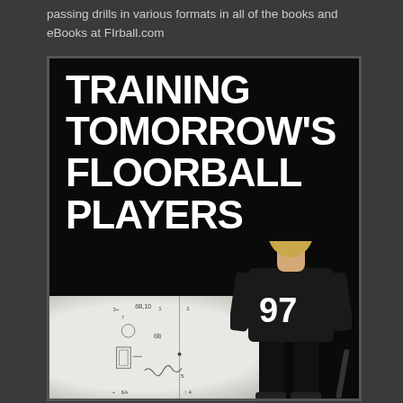passing drills in various formats in all of the books and eBooks at FIrball.com
[Figure (photo): Book cover for 'Training Tomorrow's Floorball Players' showing bold white text on black background with a player wearing jersey #97 standing in front of a whiteboard with floorball drill diagrams drawn on it.]